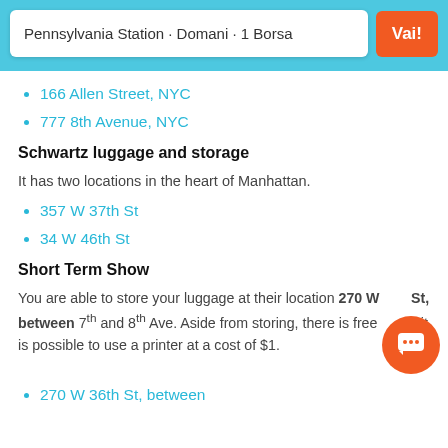Pennsylvania Station · Domani · 1 Borsa
166 Allen Street, NYC
777 8th Avenue, NYC
Schwartz luggage and storage
It has two locations in the heart of Manhattan.
357 W 37th St
34 W 46th St
Short Term Show
You are able to store your luggage at their location 270 W... St, between 7th and 8th Ave. Aside from storing, there is free... and it is possible to use a printer at a cost of $1.
270 W 36th St, between